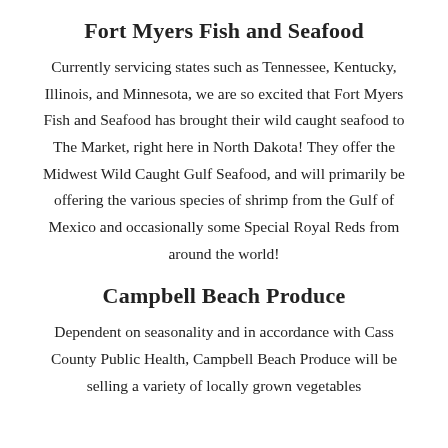Fort Myers Fish and Seafood
Currently servicing states such as Tennessee, Kentucky, Illinois, and Minnesota, we are so excited that Fort Myers Fish and Seafood has brought their wild caught seafood to The Market, right here in North Dakota! They offer the Midwest Wild Caught Gulf Seafood, and will primarily be offering the various species of shrimp from the Gulf of Mexico and occasionally some Special Royal Reds from around the world!
Campbell Beach Produce
Dependent on seasonality and in accordance with Cass County Public Health, Campbell Beach Produce will be selling a variety of locally grown vegetables